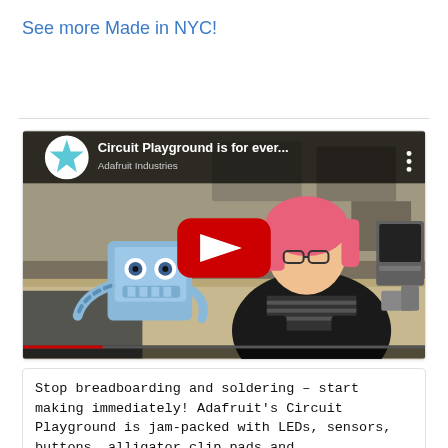See more Made in NYC!
[Figure (screenshot): YouTube video thumbnail showing 'Circuit Playground is for ever...' with a woman with pink hair and a blue robot character, with a red play button overlay and Adafruit star logo]
Stop breadboarding and soldering – start making immediately! Adafruit's Circuit Playground is jam-packed with LEDs, sensors, buttons, alligator clip pads and